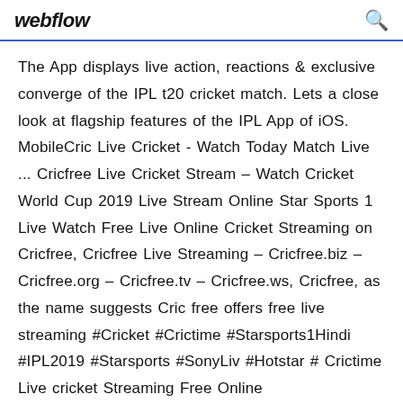webflow
The App displays live action, reactions & exclusive converge of the IPL t20 cricket match. Lets a close look at flagship features of the IPL App of iOS. MobileCric Live Cricket - Watch Today Match Live ... Cricfree Live Cricket Stream – Watch Cricket World Cup 2019 Live Stream Online Star Sports 1 Live Watch Free Live Online Cricket Streaming on Cricfree, Cricfree Live Streaming – Cricfree.biz – Cricfree.org – Cricfree.tv – Cricfree.ws, Cricfree, as the name suggests Cric free offers free live streaming #Cricket #Crictime #Starsports1Hindi #IPL2019 #Starsports #SonyLiv #Hotstar # Crictime Live cricket Streaming Free Online